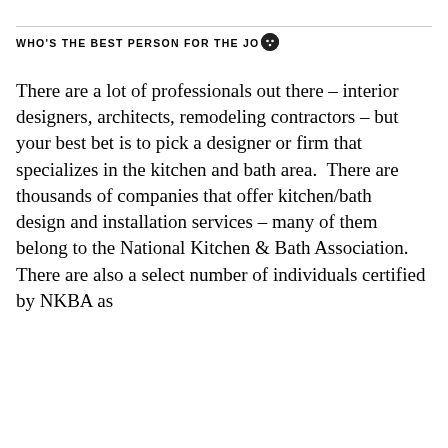WHO'S THE BEST PERSON FOR THE JOB?
There are a lot of professionals out there – interior designers, architects, remodeling contractors – but your best bet is to pick a designer or firm that specializes in the kitchen and bath area.  There are thousands of companies that offer kitchen/bath design and installation services – many of them belong to the National Kitchen & Bath Association. There are also a select number of individuals certified by NKBA as